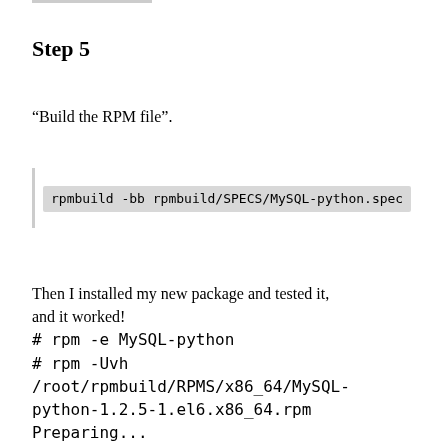Step 5
“Build the RPM file”.
rpmbuild -bb rpmbuild/SPECS/MySQL-python.spec
Then I installed my new package and tested it, and it worked!
# rpm -e MySQL-python
# rpm -Uvh /root/rpmbuild/RPMS/x86_64/MySQL-python-1.2.5-1.el6.x86_64.rpm
Preparing...